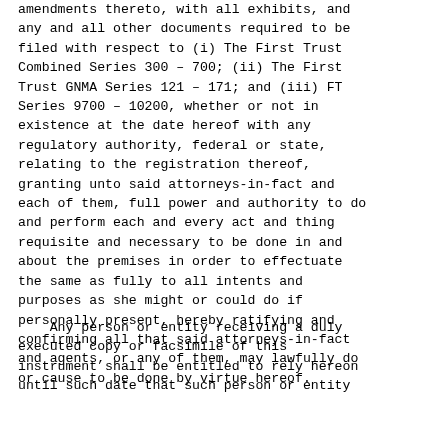amendments thereto, with all exhibits, and any and all other documents required to be filed with respect to (i) The First Trust Combined Series 300 - 700; (ii) The First Trust GNMA Series 121 - 171; and (iii) FT Series 9700 - 10200, whether or not in existence at the date hereof with any regulatory authority, federal or state, relating to the registration thereof, granting unto said attorneys-in-fact and each of them, full power and authority to do and perform each and every act and thing requisite and necessary to be done in and about the premises in order to effectuate the same as fully to all intents and purposes as she might or could do if personally present, hereby ratifying and confirming all that said attorneys-in-fact and agents, or any of them, may lawfully do or cause to be done by virtue hereof.
Any person or entity receiving a duly executed copy or facsimile of this instrument shall be entitled to rely hereon until such date that such person or entity